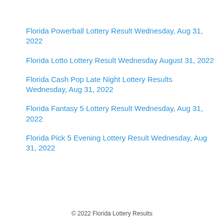Florida Powerball Lottery Result Wednesday, Aug 31, 2022
Florida Lotto Lottery Result Wednesday August 31, 2022
Florida Cash Pop Late Night Lottery Results Wednesday, Aug 31, 2022
Florida Fantasy 5 Lottery Result Wednesday, Aug 31, 2022
Florida Pick 5 Evening Lottery Result Wednesday, Aug 31, 2022
© 2022 Florida Lottery Results